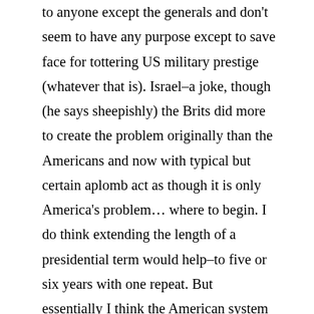to anyone except the generals and don't seem to have any purpose except to save face for tottering US military prestige (whatever that is). Israel–a joke, though (he says sheepishly) the Brits did more to create the problem originally than the Americans and now with typical but certain aplomb act as though it is only America's problem… where to begin. I do think extending the length of a presidential term would help–to five or six years with one repeat. But essentially I think the American system is broken, when members of congress elected just a year ago, and having done nothing since of any merit, are now out trying to save their seats for the next round